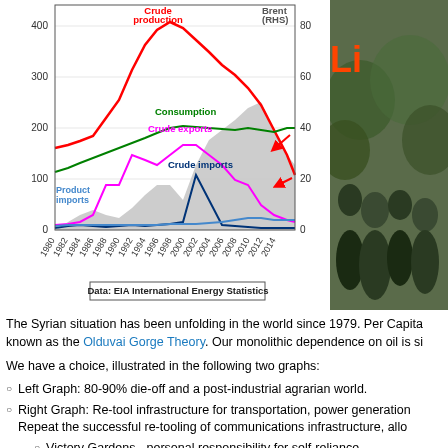[Figure (line-chart): Syria oil production, exports, consumption, imports 1980-2014]
Data: EIA International Energy Statistics
The Syrian situation has been unfolding in the world since 1979. Per Capita known as the Olduvai Gorge Theory. Our monolithic dependence on oil is si
We have a choice, illustrated in the following two graphs:
Left Graph: 80-90% die-off and a post-industrial agrarian world.
Right Graph: Re-tool infrastructure for transportation, power generation Repeat the successful re-tooling of communications infrastructure, allo
Victory Gardens - personal responsibility for self-reliance.